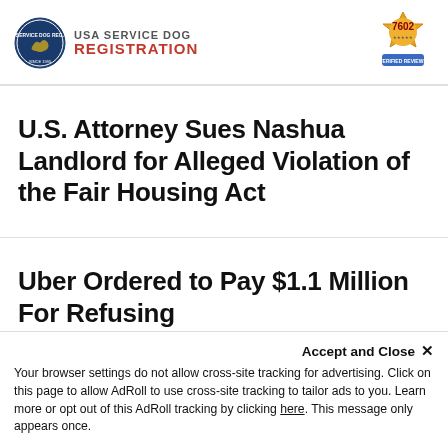[Figure (logo): USA Service Dog Registration logo with circular emblem on left and text 'USA SERVICE DOG REGISTRATION' in red on right]
[Figure (other): Gold badge with '7602 Verified Reviews' text]
U.S. Attorney Sues Nashua Landlord for Alleged Violation of the Fair Housing Act
Uber Ordered to Pay $1.1 Million For Refusing Service Dog
Accept and Close ×
Your browser settings do not allow cross-site tracking for advertising. Click on this page to allow AdRoll to use cross-site tracking to tailor ads to you. Learn more or opt out of this AdRoll tracking by clicking here. This message only appears once.